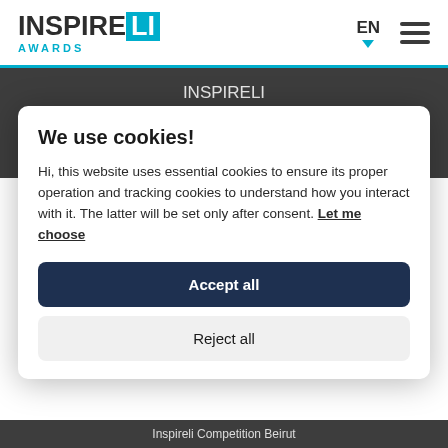[Figure (logo): InspireLI Awards logo — INSPIRE in dark text, LI in white on cyan box, AWARDS in cyan below]
EN  ☰
INSPIRELI
Contacts
We use cookies!
Hi, this website uses essential cookies to ensure its proper operation and tracking cookies to understand how you interact with it. The latter will be set only after consent. Let me choose
Accept all
Reject all
Inspireli Competition Beirut